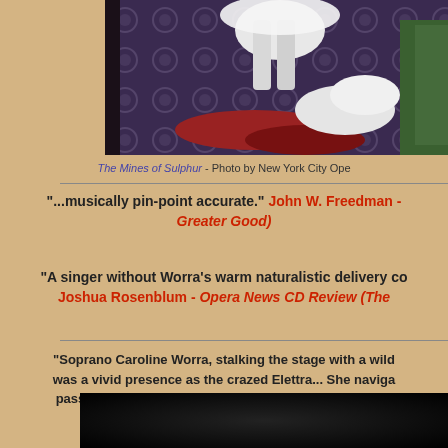[Figure (photo): Performance photo from The Mines of Sulphur, showing performers on stage with colorful set pieces]
The Mines of Sulphur - Photo by New York City Ope
"...musically pin-point accurate." John W. Freedman - Greater Good)
"A singer without Worra's warm naturalistic delivery co... Joshua Rosenblum - Opera News CD Review (The
"Soprano Caroline Worra, stalking the stage with a wild... was a vivid presence as the crazed Elettra... She naviga... passagework of her rage arias with ease, exhibiting su... control..." Karen Ratzlaff - Opera News (Ido
[Figure (photo): Dark bottom photo, partially visible]